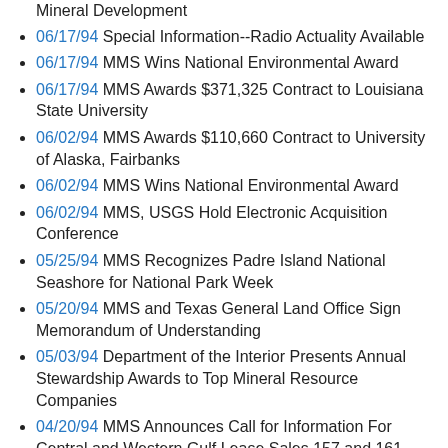Mineral Development
06/17/94 Special Information--Radio Actuality Available
06/17/94 MMS Wins National Environmental Award
06/17/94 MMS Awards $371,325 Contract to Louisiana State University
06/02/94 MMS Awards $110,660 Contract to University of Alaska, Fairbanks
06/02/94 MMS Wins National Environmental Award
06/02/94 MMS, USGS Hold Electronic Acquisition Conference
05/25/94 MMS Recognizes Padre Island National Seashore for National Park Week
05/20/94 MMS and Texas General Land Office Sign Memorandum of Understanding
05/03/94 Department of the Interior Presents Annual Stewardship Awards to Top Mineral Resource Companies
04/20/94 MMS Announces Call for Information For Central and Western Gulf Lease Sales 157 and 161